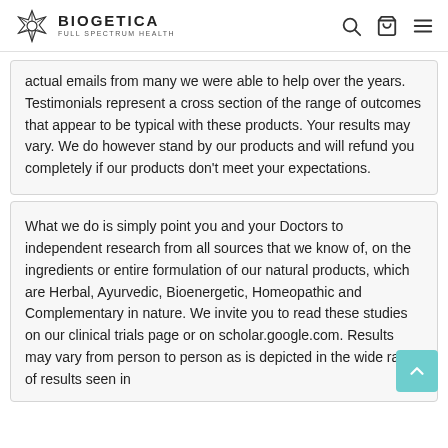BIOGETICA FULL SPECTRUM HEALTH
actual emails from many we were able to help over the years. Testimonials represent a cross section of the range of outcomes that appear to be typical with these products. Your results may vary. We do however stand by our products and will refund you completely if our products don't meet your expectations.
What we do is simply point you and your Doctors to independent research from all sources that we know of, on the ingredients or entire formulation of our natural products, which are Herbal, Ayurvedic, Bioenergetic, Homeopathic and Complementary in nature. We invite you to read these studies on our clinical trials page or on scholar.google.com. Results may vary from person to person as is depicted in the wide range of results seen in